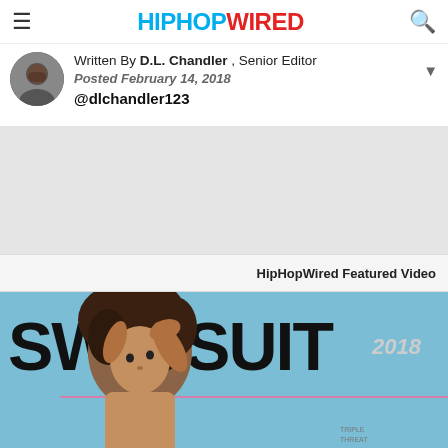HipHopWired
Written By D.L. Chandler , Senior Editor
Posted February 14, 2018
@dlchandler123
HipHopWired Featured Video
[Figure (photo): Sports Illustrated Swimsuit 2018 magazine cover featuring a model with curly hair against a blue background with large black SWIMSUIT text]